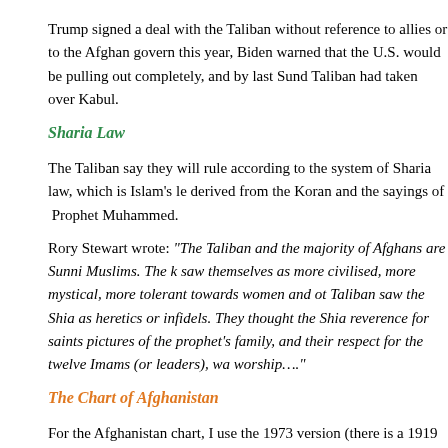Trump signed a deal with the Taliban without reference to allies or to the Afghan govern this year, Biden warned that the U.S. would be pulling out completely, and by last Sund Taliban had taken over Kabul.
Sharia Law
The Taliban say they will rule according to the system of Sharia law, which is Islam's le derived from the Koran and the sayings of Prophet Muhammed.
Rory Stewart wrote: "The Taliban and the majority of Afghans are Sunni Muslims. The k saw themselves as more civilised, more mystical, more tolerant towards women and ot Taliban saw the Shia as heretics or infidels. They thought the Shia reverence for saints pictures of the prophet's family, and their respect for the twelve Imams (or leaders), wa worship…."
The Chart of Afghanistan
For the Afghanistan chart, I use the 1973 version (there is a 1919 version). Interestingl same year that Rory Stewart was born, so the outer planets are in alignment and in ha chart. In the Afghanistan chart, the Sun is exactly conjunct the I.C. in Cancer in 3rd He symbolic of its own struggle to retain its own power and unity. The Moon is exactly co at the end of the 9th House, emphasizing the importance and idealistic fervour of the re struggles of this country (Jupiter and 9th House representing religion).